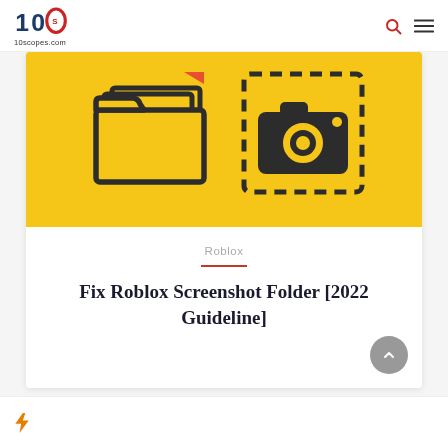10scopes.com
[Figure (illustration): Yellow background hero image with a folder icon on the left and a camera-in-dashed-border icon on the right, representing Roblox screenshot folder]
Roblox
Fix Roblox Screenshot Folder [2022 Guideline]
lightning bolt icon